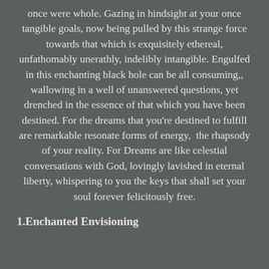once were whole. Gazing in hindsight at your once tangible goals, now being pulled by this strange force towards that which is exquisitely ethereal, unfathomably unerathly, indelibly intangible. Engulfed in this enchanting black hole can be all consuming,, wallowing in a well of unanswered questions, yet drenched in the essence of that which you have been destined. For the dreams that you're destined to fulfill are remarkable resonate forms of energy,  the rhapsody of your reality. For Dreams are like celestial conversations with God, lovingly lavished in eternal liberty, whispering to you the keys that shall set your soul forever felicitously free.
1.Enchanted Envisioning